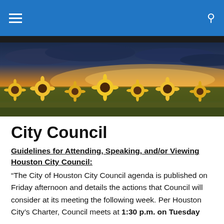City Council – navigation bar with hamburger menu and search icon
[Figure (photo): Wide panoramic photo of a sunflower field under a dramatic sunset sky with golden and cloudy tones]
City Council
Guidelines for Attending, Speaking, and/or Viewing Houston City Council:
“The City of Houston City Council agenda is published on Friday afternoon and details the actions that Council will consider at its meeting the following week. Per Houston City’s Charter, Council meets at 1:30 p.m. on Tuesday